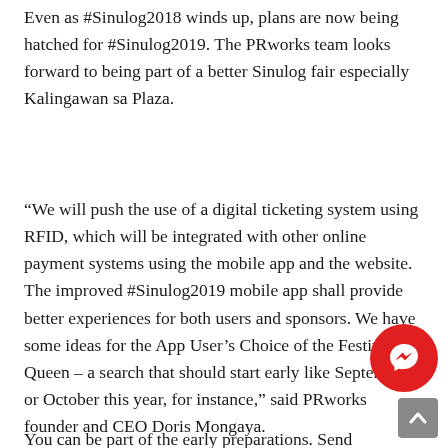Even as #Sinulog2018 winds up, plans are now being hatched for #Sinulog2019. The PRworks team looks forward to being part of a better Sinulog fair especially Kalingawan sa Plaza.
“We will push the use of a digital ticketing system using RFID, which will be integrated with other online payment systems using the mobile app and the website. The improved #Sinulog2019 mobile app shall provide better experiences for both users and sponsors. We have some ideas for the App User’s Choice of the Festival Queen – a search that should start early like September or October this year, for instance,” said PRworks founder and CEO Doris Mongaya.
You can be part of the early preparations. Send
[Figure (other): Facebook Messenger chat button (red circle with white lightning bolt/messenger icon)]
[Figure (other): Scroll-to-top button (grey square with white upward chevron)]